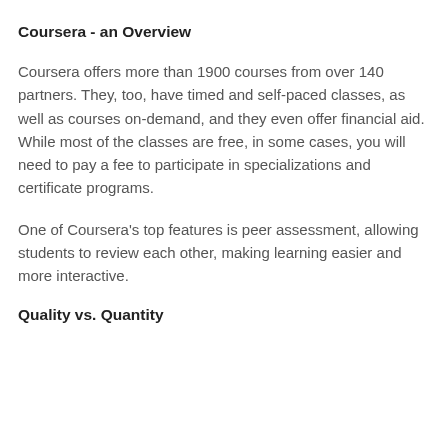Coursera - an Overview
Coursera offers more than 1900 courses from over 140 partners. They, too, have timed and self-paced classes, as well as courses on-demand, and they even offer financial aid. While most of the classes are free, in some cases, you will need to pay a fee to participate in specializations and certificate programs.
One of Coursera's top features is peer assessment, allowing students to review each other, making learning easier and more interactive.
Quality vs. Quantity